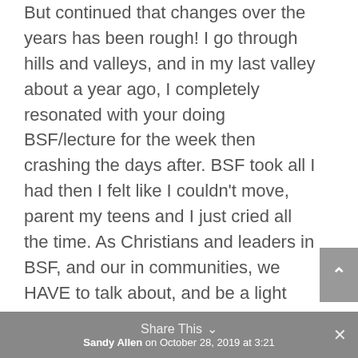But continued that changes over the years has been rough! I go through hills and valleys, and in my last valley about a year ago, I completely resonated with your doing BSF/lecture for the week then crashing the days after. BSF took all I had then I felt like I couldn't move, parent my teens and I just cried all the time. As Christians and leaders in BSF, and our in communities, we HAVE to talk about, and be a light and comfort to those suffering in this way!
Share This ∨  ×  Sandy Allen on October 28, 2019 at 3:21